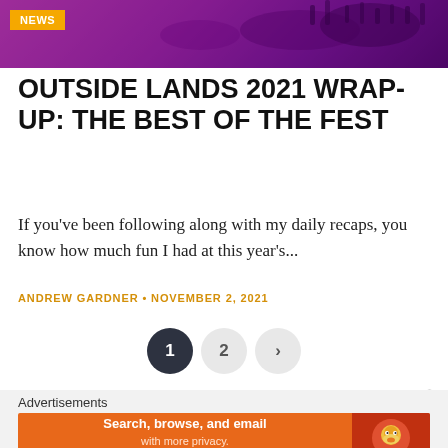[Figure (photo): Concert/festival hero image with purple/magenta crowd silhouette background]
NEWS
OUTSIDE LANDS 2021 WRAP-UP: THE BEST OF THE FEST
If you've been following along with my daily recaps, you know how much fun I had at this year's...
ANDREW GARDNER • NOVEMBER 2, 2021
1  2  >
Advertisements
[Figure (screenshot): DuckDuckGo advertisement banner: Search, browse, and email with more privacy. All in One Free App]